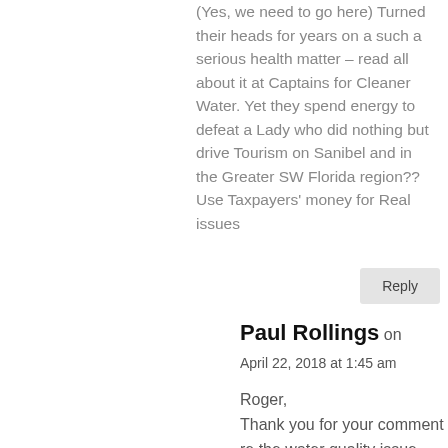(Yes, we need to go here) Turned their heads for years on a such a serious health matter – read all about it at Captains for Cleaner Water. Yet they spend energy to defeat a Lady who did nothing but drive Tourism on Sanibel and in the Greater SW Florida region?? Use Taxpayers' money for Real issues
Reply
Paul Rollings on
April 22, 2018 at 1:45 am
Roger, Thank you for your comment re the water quality issue. My wife, daughter and I enjoy